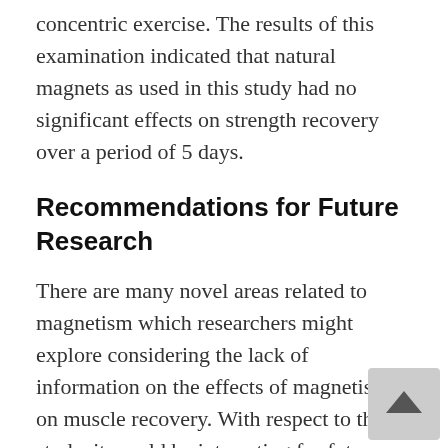concentric exercise. The results of this examination indicated that natural magnets as used in this study had no significant effects on strength recovery over a period of 5 days.
Recommendations for Future Research
There are many novel areas related to magnetism which researchers might explore considering the lack of information on the effects of magnetism on muscle recovery. With respect to this study, it would be interesting for future investigations to examine the effects of using stronger magnets, extending the time period for wearing the magnets, or extending the